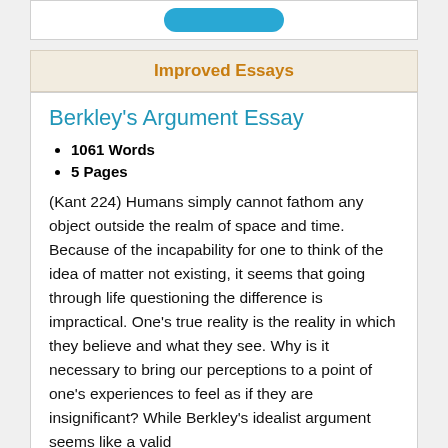[Figure (other): Top bar with a blue rounded button (partially visible)]
Improved Essays
Berkley's Argument Essay
1061 Words
5 Pages
(Kant 224) Humans simply cannot fathom any object outside the realm of space and time. Because of the incapability for one to think of the idea of matter not existing, it seems that going through life questioning the difference is impractical. One’s true reality is the reality in which they believe and what they see. Why is it necessary to bring our perceptions to a point of one’s experiences to feel as if they are insignificant? While Berkley’s idealist argument seems like a valid